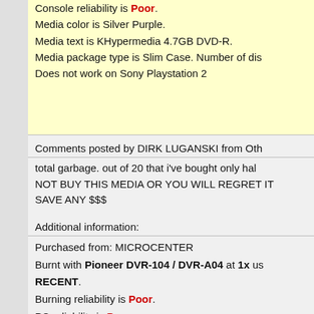Console reliability is Poor. Media color is Silver Purple. Media text is KHypermedia 4.7GB DVD-R. Media package type is Slim Case. Number of disc Does not work on Sony Playstation 2
Comments posted by DIRK LUGANSKI from Oth
total garbage. out of 20 that i've bought only hal NOT BUY THIS MEDIA OR YOU WILL REGRET IT SAVE ANY $$$
Additional information:
Purchased from: MICROCENTER Burnt with Pioneer DVR-104 / DVR-A04 at 1x us RECENT. Burning reliability is Poor. PC reliability is Poor.